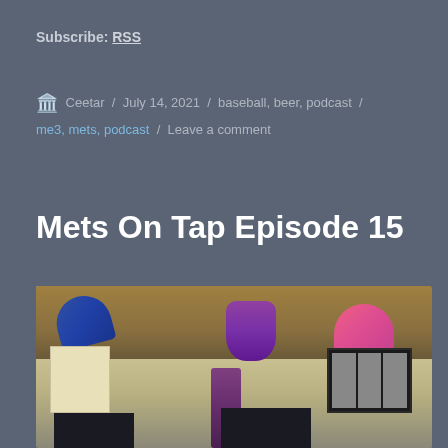Subscribe: RSS
🏛️ Ceetar / July 14, 2021 / baseball, beer, podcast / me3, mets, podcast / Leave a comment
Mets On Tap Episode 15
[Figure (photo): Photo of a home office desk area with several baseball caps hanging from a shelf, a purple flower, children's drawings on the wall, framed photos, and computer monitors in the foreground.]